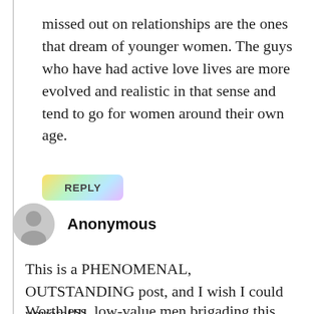missed out on relationships are the ones that dream of younger women. The guys who have had active love lives are more evolved and realistic in that sense and tend to go for women around their own age.
REPLY
Anonymous
This is a PHENOMENAL, OUTSTANDING post, and I wish I could upvote!!!!
Worthless, low-value men brigading this website